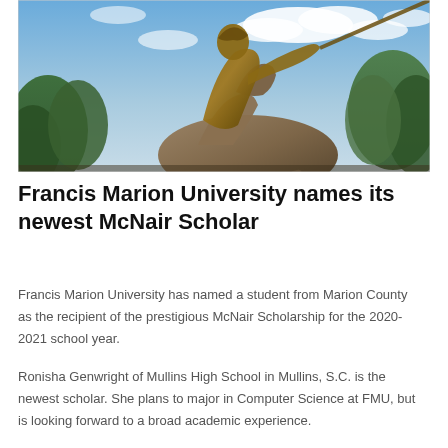[Figure (photo): Photo of a bronze equestrian statue from a low angle against a blue sky with clouds and trees in the background. The statue depicts a rider on horseback.]
Francis Marion University names its newest McNair Scholar
Francis Marion University has named a student from Marion County as the recipient of the prestigious McNair Scholarship for the 2020-2021 school year.
Ronisha Genwright of Mullins High School in Mullins, S.C. is the newest scholar. She plans to major in Computer Science at FMU, but is looking forward to a broad academic experience.